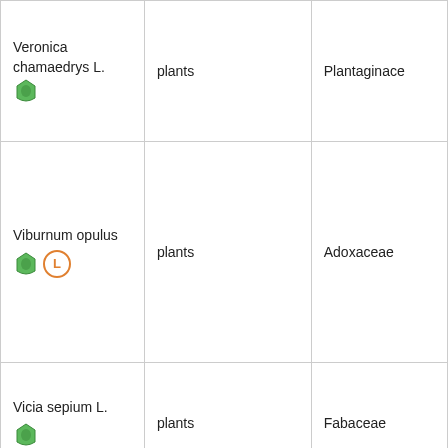| Species | Type | Family |
| --- | --- | --- |
| Veronica chamaedrys L. [icon] | plants | Plantaginaceae |
| Viburnum opulus [icon][L] | plants | Adoxaceae |
| Vicia sepium L. [icon] | plants | Fabaceae |
| Xerocomus subtomentosus | mushrooms | Boletaceae |
Page TOP